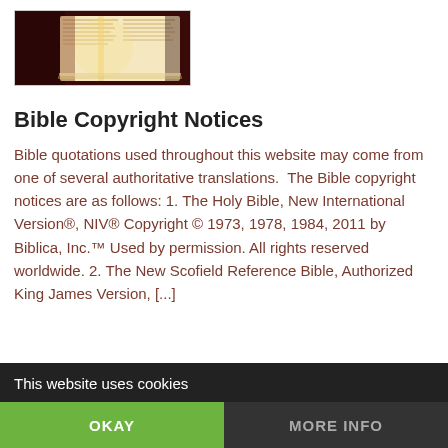[Figure (photo): Open Bible with pages spread, warm lighting on red background]
Bible Copyright Notices
Bible quotations used throughout this website may come from one of several authoritative translations.  The Bible copyright notices are as follows: 1. The Holy Bible, New International Version®, NIV® Copyright © 1973, 1978, 1984, 2011 by Biblica, Inc.™ Used by permission. All rights reserved worldwide. 2. The New Scofield Reference Bible, Authorized King James Version, [...]
This website uses cookies
OKAY
MORE INFO